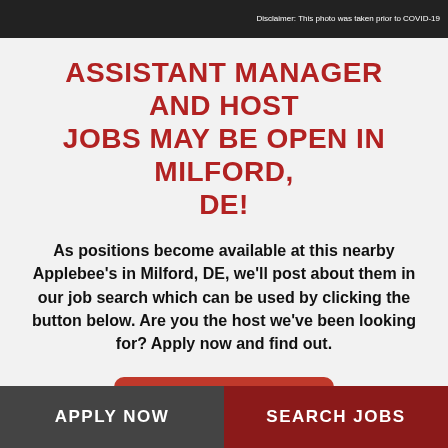[Figure (photo): Dark photo strip at top of page with a disclaimer reading 'Disclaimer: This photo was taken prior to COVID-19']
ASSISTANT MANAGER AND HOST JOBS MAY BE OPEN IN MILFORD, DE!
As positions become available at this nearby Applebee's in Milford, DE, we'll post about them in our job search which can be used by clicking the button below. Are you the host we've been looking for? Apply now and find out.
Search for Jobs
APPLY NOW   SEARCH JOBS